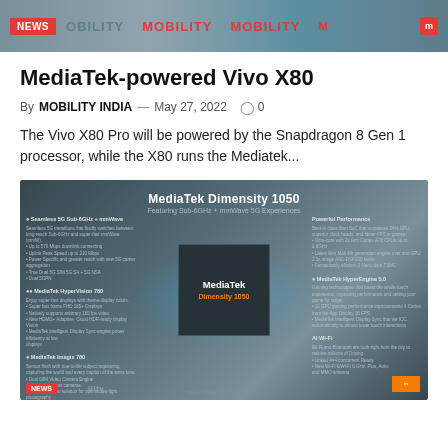NEWS  MOBILITY  MOBILITY  MOBILITY
MediaTek-powered Vivo X80
By MOBILITY INDIA — May 27, 2022  0
The Vivo X80 Pro will be powered by the Snapdragon 8 Gen 1 processor, while the X80 runs the Mediatek...
[Figure (infographic): MediaTek Dimensity 1050 chip infographic with technical specifications and feature callouts arranged in columns around a central chip image on a dark blue-gray background.]
NEWS  ility